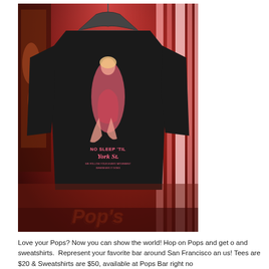[Figure (photo): A black long-sleeve sweatshirt hanging on a hanger in a bar setting with red ambient lighting. The sweatshirt has a graphic of a woman sitting with text reading 'NO SLEEP 'TIL York St.' and additional smaller text. Below the shirt, colorful 'Pop's' lettering is visible in orange/red bubble letters. The background shows red curtains and bar decor.]
Love your Pops? Now you can show the world! Hop on Pops and get o and sweatshirts.  Represent your favorite bar around San Francisco an us! Tees are $20 & Sweatshirts are $50, available at Pops Bar right no